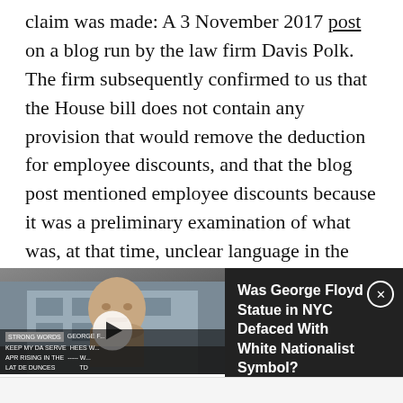claim was made: A 3 November 2017 post on a blog run by the law firm Davis Polk. The firm subsequently confirmed to us that the House bill does not contain any provision that would remove the deduction for employee discounts, and that the blog post mentioned employee discounts because it was a preliminary examination of what was, at that time, unclear language in the bill.
[Figure (screenshot): Video thumbnail showing a George Floyd statue bust with protest imagery and an overlay panel with text 'Was George Floyd Statue in NYC Defaced With White Nationalist Symbol?' and a close button. Below the video are tags: congress, gop tax plan, tax reform.]